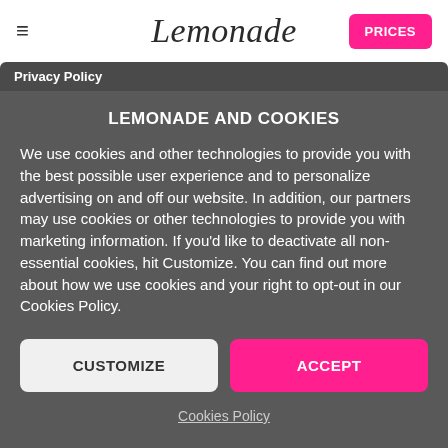≡  Lemonade  PRICES
Privacy Policy
LEMONADE AND COOKIES
We use cookies and other technologies to provide you with the best possible user experience and to personalize advertising on and off our website. In addition, our partners may use cookies or other technologies to provide you with marketing information. If you'd like to deactivate all non-essential cookies, hit Customize. You can find out more about how we use cookies and your right to opt-out in our Cookies Policy.
CUSTOMIZE
ACCEPT
Cookies Policy